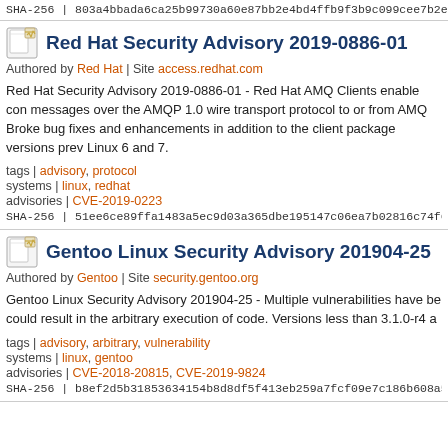SHA-256 | 803a4bbada6ca25b99730a60e87bb2e4bd4ffb9f3b9c099cee7b2e...
Red Hat Security Advisory 2019-0886-01
Authored by Red Hat | Site access.redhat.com
Red Hat Security Advisory 2019-0886-01 - Red Hat AMQ Clients enable con messages over the AMQP 1.0 wire transport protocol to or from AMQ Broke bug fixes and enhancements in addition to the client package versions prev Linux 6 and 7.
tags | advisory, protocol
systems | linux, redhat
advisories | CVE-2019-0223
SHA-256 | 51ee6ce89ffa1483a5ec9d03a365dbe195147c06ea7b02816c74f6...
Gentoo Linux Security Advisory 201904-25
Authored by Gentoo | Site security.gentoo.org
Gentoo Linux Security Advisory 201904-25 - Multiple vulnerabilities have be could result in the arbitrary execution of code. Versions less than 3.1.0-r4 a...
tags | advisory, arbitrary, vulnerability
systems | linux, gentoo
advisories | CVE-2018-20815, CVE-2019-9824
SHA-256 | b8ef2d5b31853634154b8d8df5f413eb259a7fcf09e7c186b608a5...